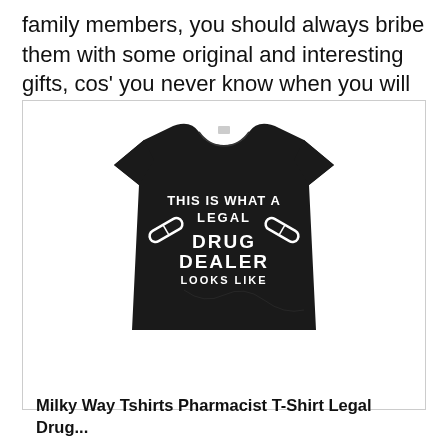family members, you should always bribe them with some original and interesting gifts, cos' you never know when you will need their help.
[Figure (photo): A black t-shirt with white text reading 'THIS IS WHAT A LEGAL DRUG DEALER LOOKS LIKE' with crossed pill capsule graphics]
Milky Way Tshirts Pharmacist T-Shirt Legal Drug...